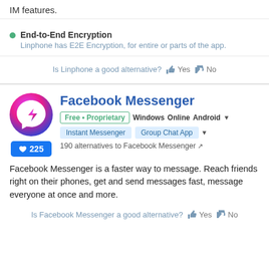IM features.
End-to-End Encryption
Linphone has E2E Encryption, for entire or parts of the app.
Is Linphone a good alternative? 👍 Yes 👎 No
Facebook Messenger
Free • Proprietary  Windows  Online  Android
Instant Messenger  Group Chat App
190 alternatives to Facebook Messenger
225 likes
Facebook Messenger is a faster way to message. Reach friends right on their phones, get and send messages fast, message everyone at once and more.
Is Facebook Messenger a good alternative? 👍 Yes 👎 No